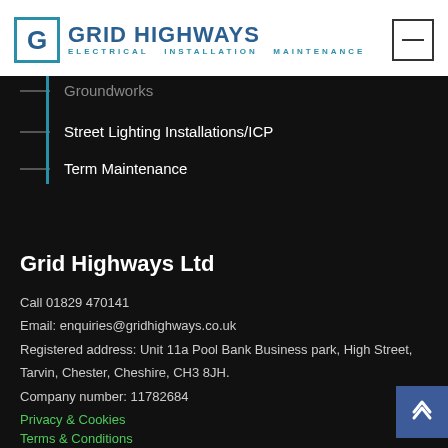[Figure (logo): Grid Highways logo with stylized G in bracketed box and text 'GRID HIGHWAYS / ELECTRICAL INSTALLATION MAINTENANCE']
Groundworks
Street Lighting Installations/ICP
Term Maintenance
Grid Highways Ltd
Call 01829 470141
Email: enquiries@gridhighways.co.uk
Registered address: Unit 11a Pool Bank Business park, High Street, Tarvin, Chester, Cheshire, CH3 8JH.
Company number: 11782684
Privacy & Cookies
Terms & Conditions